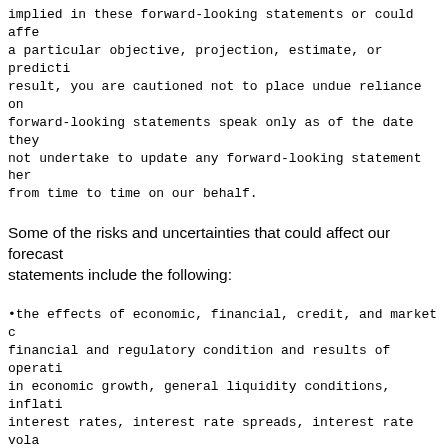implied in these forward-looking statements or could affect a particular objective, projection, estimate, or prediction. As a result, you are cautioned not to place undue reliance on any forward-looking statements speak only as of the date they were made. We do not undertake to update any forward-looking statement herein or that may be made from time to time on our behalf.
Some of the risks and uncertainties that could affect our forecast statements include the following:
•the effects of economic, financial, credit, and market conditions on the financial and regulatory condition and results of operations, including changes in economic growth, general liquidity conditions, inflation, employment, interest rates, interest rate spreads, interest rate volatility, mortgage originations, prepayment activity, housing prices, asset valuations, deposit flows, liquidity needs, and loan demand; changes in interest rates, including but not limited to the cessation of the use of LIBOR and the development of alternative rates, including the secured overnight financing rate (SOFR), and the adverse consequences these could have on market participants, including the Bank and its members; changes in the U.S. economy, including changes resulting from U.S. fiscal and monetary policy, the actions of the Federal Open Market Committee (FOMC), or changes in the credit ratings of the U.S. federal government; the condition of the residential housing markets on our mortgage-related assets; and the conditions in the markets on our COs;
•issues and events across the FHLBank System and in the broader economy that lead to executive branch, legislative, regulatory, judicial, or other actions that could affect the Bank;